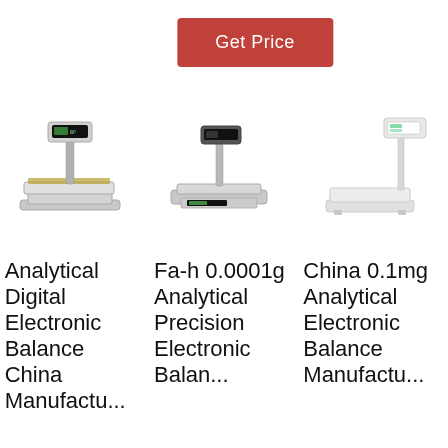Get Price
[Figure (photo): Three electronic analytical balance/scale products shown side by side: a stainless steel analytical digital electronic balance, a Fa-h precision electronic balance with printer, and a white China platform electronic balance.]
Analytical Digital Electronic Balance China Manufactu...
Fa-h 0.0001g Analytical Precision Electronic Balan...
China 0.1mg Analytical Electronic Balance Manufactu...